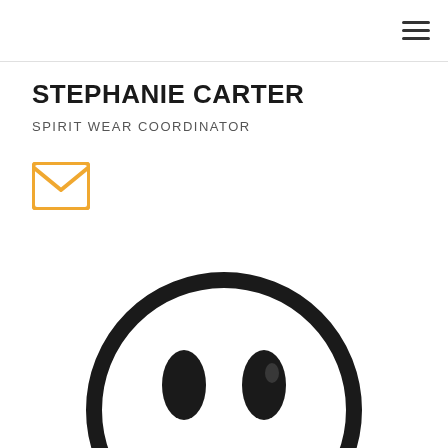STEPHANIE CARTER
SPIRIT WEAR COORDINATOR
[Figure (illustration): Orange envelope/mail icon]
[Figure (photo): Partially visible black and white smiley face illustration, showing only the top half with two oval eyes]